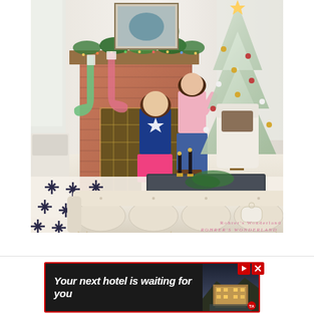[Figure (photo): Indoor Christmas scene with two children standing at a brick fireplace decorated with garland, stockings, and lights. A large flocked Christmas tree with gold and white ornaments is visible on the right. The room has white furniture including a tufted cream sofa in the foreground, a pattern rug with dark cross/bird motifs, and a dark coffee table with candles and greenery. Watermark reads 'ROHRER'S WONDERLAND' in pink text.]
[Figure (photo): Advertisement banner: dark background with red border showing text 'Your next hotel is waiting for you' in white italic bold text, with a landscape photo of a lit hotel/resort at dusk on the right side. Red play and close buttons visible in top right corner.]